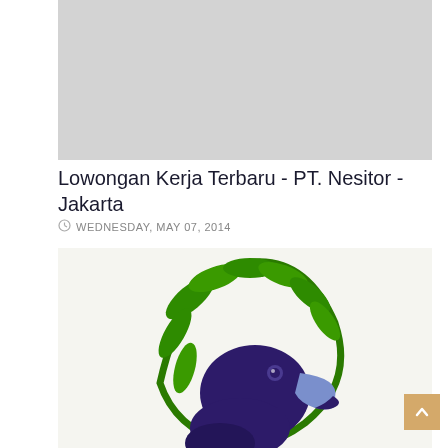[Figure (other): Gray placeholder image area at top of page]
Lowongan Kerja Terbaru - PT. Nesitor - Jakarta
WEDNESDAY, MAY 07, 2014
[Figure (logo): PT. Nesitor company logo featuring a dark purple/indigo bird (parrot or hornbill) head facing right, surrounded by a circular green branch with leaves, on a light background]